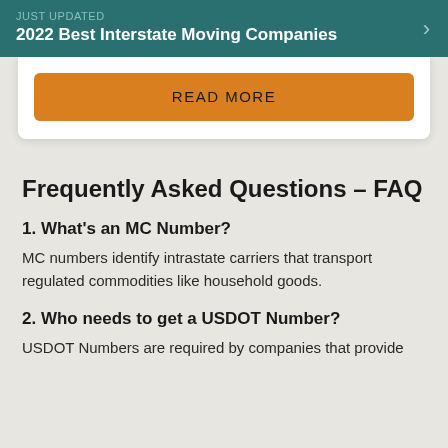JUST UPDATED
2022 Best Interstate Moving Companies
READ MORE
Frequently Asked Questions – FAQ
1. What's an MC Number?
MC numbers identify intrastate carriers that transport regulated commodities like household goods.
2. Who needs to get a USDOT Number?
USDOT Numbers are required by companies that provide